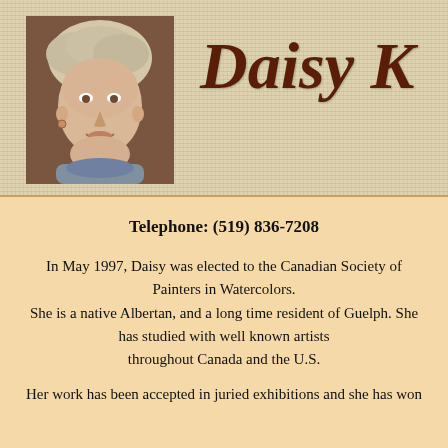[Figure (photo): Portrait photo of Daisy K, a woman with light curly hair, smiling, wearing a turtleneck]
Daisy K
Telephone: (519) 836-7208
In May 1997, Daisy was elected to the Canadian Society of Painters in Watercolors. She is a native Albertan, and a long time resident of Guelph. She has studied with well known artists throughout Canada and the U.S.
Her work has been accepted in juried exhibitions and she has won